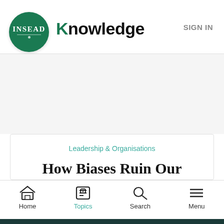[Figure (logo): INSEAD Knowledge logo with green circle containing INSEAD text and Knowledge wordmark]
SIGN IN
[Figure (other): Advertisement/blank white space area]
Leadership & Organisations
How Biases Ruin Our Judgment Calls
Home   Topics   Search   Menu